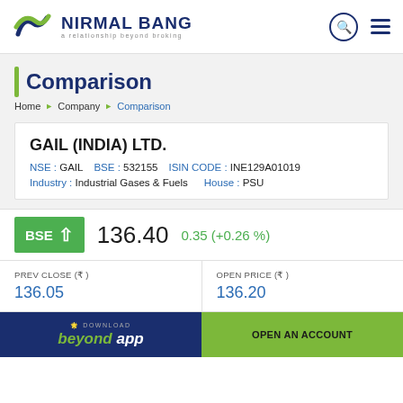[Figure (logo): Nirmal Bang logo with swoosh icon and tagline 'a relationship beyond broking']
Comparison
Home ▶ Company ▶ Comparison
GAIL (INDIA) LTD.
NSE : GAIL   BSE : 532155   ISIN CODE : INE129A01019
Industry : Industrial Gases & Fuels   House : PSU
BSE ↑ 136.40   0.35 (+0.26 %)
| PREV CLOSE (₹) | OPEN PRICE (₹) |
| --- | --- |
| 136.05 | 136.20 |
DOWNLOAD beyond app | OPEN AN ACCOUNT